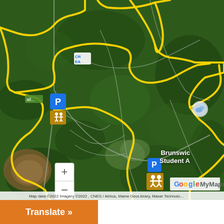[Figure (map): Satellite/aerial Google My Maps view showing forested area with yellow boundary lines marking a preserve or conservation area. Features parking icons, a CR EA label, trail markers, zoom controls, and partial labels for 'Brunswick Student A...' in lower right. Google My Maps branding and map data credit visible.]
Translate »